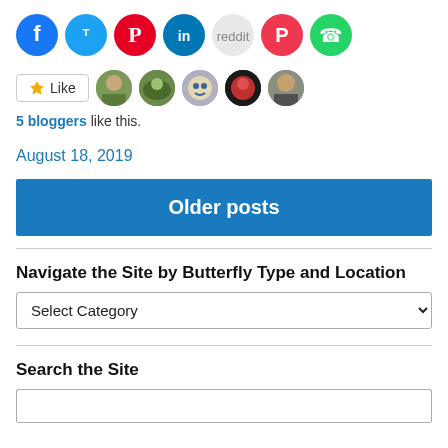[Figure (other): Row of social media share icon circles: Facebook (blue), Twitter (cyan-blue), Pinterest (red), LinkedIn (dark blue), Reddit (light gray), Pocket (red), WhatsApp (green)]
[Figure (other): Like button with star icon, followed by 5 blogger avatar profile thumbnails]
5 bloggers like this.
August 18, 2019
Older posts
Navigate the Site by Butterfly Type and Location
Select Category
Search the Site